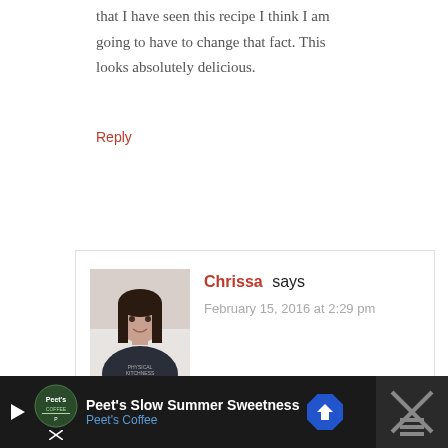that I have seen this recipe I think I am going to have to change that fact. This looks absolutely delicious.
Reply
Chrissa says
February 15, 2016 at 2:29 pm
[Figure (other): Advertisement banner: Peet's Slow Summer Sweetness, Peet's Coffee]
[Figure (photo): Profile photo of Chrissa, a woman with dark hair wearing a dark t-shirt]